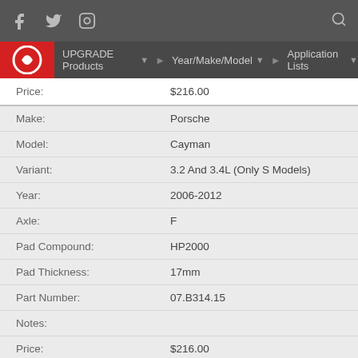UPGRADE Products | Year/Make/Model | Application Lists
| Price: | $216.00 |
| Make: | Porsche |
| Model: | Cayman |
| Variant: | 3.2 And 3.4L (Only S Models) |
| Year: | 2006-2012 |
| Axle: | F |
| Pad Compound: | HP2000 |
| Pad Thickness: | 17mm |
| Part Number: | 07.B314.15 |
| Notes: |  |
| Price: | $216.00 |
| Make: | Porsche |
| Model: | Cayman | Cayman R |
| Variant: |  |